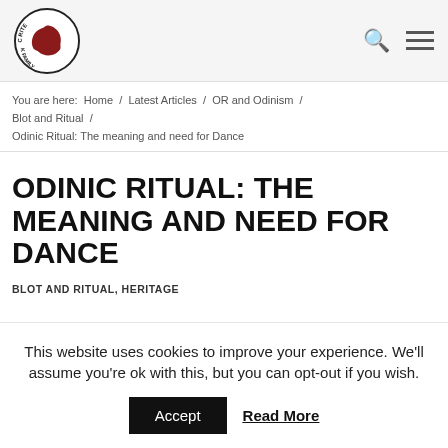Odinic Rite – Faith Folk Family (logo, search, menu)
You are here: Home / Latest Articles / OR and Odinism / Blot and Ritual / Odinic Ritual: The meaning and need for Dance
ODINIC RITUAL: THE MEANING AND NEED FOR DANCE
BLOT AND RITUAL, HERITAGE
This website uses cookies to improve your experience. We'll assume you're ok with this, but you can opt-out if you wish.
Accept  Read More